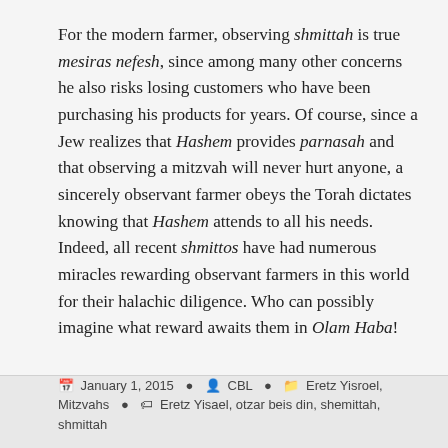For the modern farmer, observing shmittah is true mesiras nefesh, since among many other concerns he also risks losing customers who have been purchasing his products for years. Of course, since a Jew realizes that Hashem provides parnasah and that observing a mitzvah will never hurt anyone, a sincerely observant farmer obeys the Torah dictates knowing that Hashem attends to all his needs. Indeed, all recent shmittos have had numerous miracles rewarding observant farmers in this world for their halachic diligence. Who can possibly imagine what reward awaits them in Olam Haba!
January 1, 2015   CBL   Eretz Yisroel, Mitzvahs   Eretz Yisael, otzar beis din, shemittah, shmittah